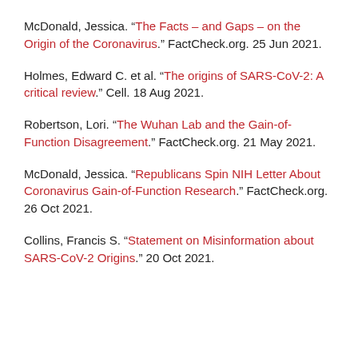McDonald, Jessica. “The Facts – and Gaps – on the Origin of the Coronavirus.” FactCheck.org. 25 Jun 2021.
Holmes, Edward C. et al. “The origins of SARS-CoV-2: A critical review.” Cell. 18 Aug 2021.
Robertson, Lori. “The Wuhan Lab and the Gain-of-Function Disagreement.” FactCheck.org. 21 May 2021.
McDonald, Jessica. “Republicans Spin NIH Letter About Coronavirus Gain-of-Function Research.” FactCheck.org. 26 Oct 2021.
Collins, Francis S. “Statement on Misinformation about SARS-CoV-2 Origins.” 20 Oct 2021.